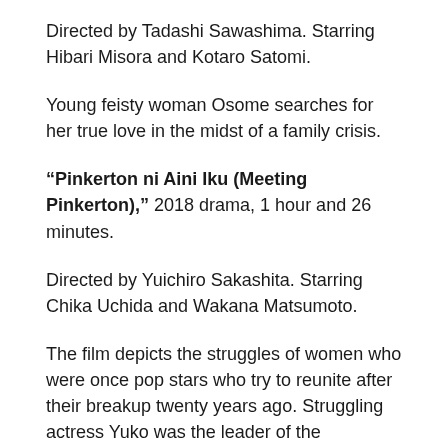Directed by Tadashi Sawashima. Starring Hibari Misora and Kotaro Satomi.
Young feisty woman Osome searches for her true love in the midst of a family crisis.
“Pinkerton ni Aini Iku (Meeting Pinkerton),” 2018 drama, 1 hour and 26 minutes.
Directed by Yuichiro Sakashita. Starring Chika Uchida and Wakana Matsumoto.
The film depicts the struggles of women who were once pop stars who try to reunite after their breakup twenty years ago. Struggling actress Yuko was the leader of the legendary idol group Pinkerton that suddenly split up just as they were on the verge of making it big. One day, a record label proposes